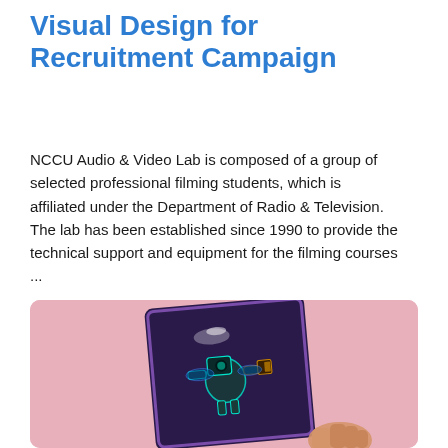Visual Design for Recruitment Campaign
NCCU Audio & Video Lab is composed of a group of selected professional filming students, which is affiliated under the Department of Radio & Television. The lab has been established since 1990 to provide the technical support and equipment for the filming courses ...
[Figure (photo): A hand holding a card with a glowing robot/camera character illustration on a dark purple background, placed against a pink background.]